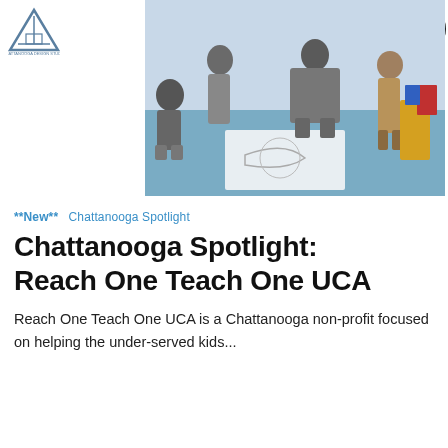Logo and navigation header
[Figure (photo): People bending down working on a mural or artwork on a blue painted ground surface outdoors, at a community event. Multiple participants in hoodies and casual clothing.]
**New**  Chattanooga Spotlight
Chattanooga Spotlight: Reach One Teach One UCA
Reach One Teach One UCA is a Chattanooga non-profit focused on helping the under-served kids...